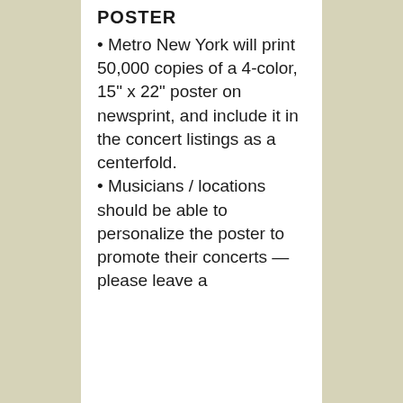POSTER
• Metro New York will print 50,000 copies of a 4-color, 15" x 22" poster on newsprint, and include it in the concert listings as a centerfold.
• Musicians / locations should be able to personalize the poster to promote their concerts — please leave a